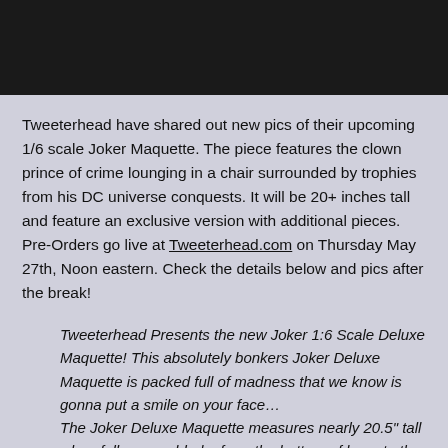[Figure (photo): Black header bar / image area at top of page]
Tweeterhead have shared out new pics of their upcoming 1/6 scale Joker Maquette. The piece features the clown prince of crime lounging in a chair surrounded by trophies from his DC universe conquests. It will be 20+ inches tall and feature an exclusive version with additional pieces. Pre-Orders go live at Tweeterhead.com on Thursday May 27th, Noon eastern. Check the details below and pics after the break!
Tweeterhead Presents the new Joker 1:6 Scale Deluxe Maquette! This absolutely bonkers Joker Deluxe Maquette is packed full of madness that we know is gonna put a smile on your face… The Joker Deluxe Maquette measures nearly 20.5" tall when fully assembled – from the bottom of base to the tippy-top of the Batman's cowl on the chair. This fully sculpted polyresin statue comes crammed with a bunch of craziness – Joker sitting atop his personalized throne with a Bat-cape and cowl,